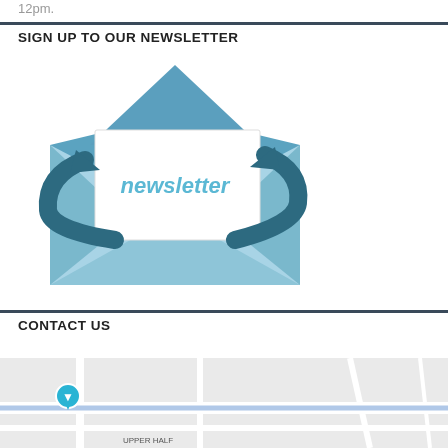12pm.
SIGN UP TO OUR NEWSLETTER
[Figure (illustration): Newsletter envelope illustration with circular arrows and 'newsletter' text on a letter inside an open envelope, in blue and teal colors.]
CONTACT US
[Figure (map): Partial map screenshot showing street layout with a location pin marker.]